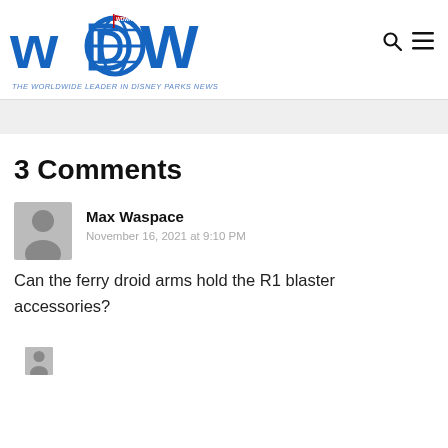WDW News Today — THE WORLDWIDE LEADER IN DISNEY PARKS NEWS
3 Comments
Max Waspace
November 16, 2021 at 9:10 PM
Can the ferry droid arms hold the R1 blaster accessories?